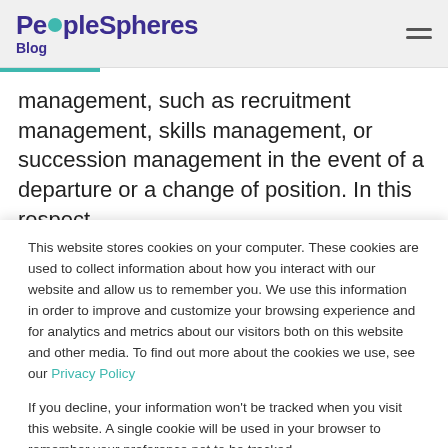PeopleSpheres Blog
management, such as recruitment management, skills management, or succession management in the event of a departure or a change of position. In this respect,
This website stores cookies on your computer. These cookies are used to collect information about how you interact with our website and allow us to remember you. We use this information in order to improve and customize your browsing experience and for analytics and metrics about our visitors both on this website and other media. To find out more about the cookies we use, see our Privacy Policy

If you decline, your information won't be tracked when you visit this website. A single cookie will be used in your browser to remember your preference not to be tracked.
Cookies settings  Accept All  Decline All